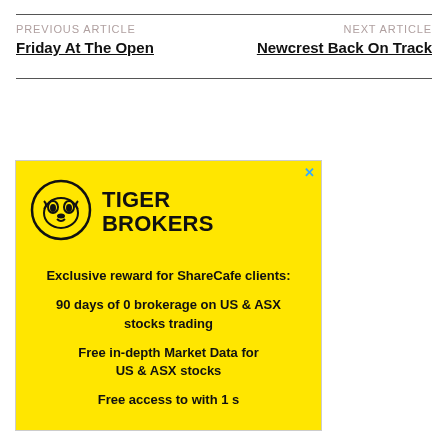PREVIOUS ARTICLE
NEXT ARTICLE
Friday At The Open
Newcrest Back On Track
[Figure (illustration): Tiger Brokers advertisement on yellow background. Shows Tiger Brokers logo (tiger face in circle) with text: Exclusive reward for ShareCafe clients: 90 days of 0 brokerage on US & ASX stocks trading. Free in-depth Market Data for US & ASX stocks.]